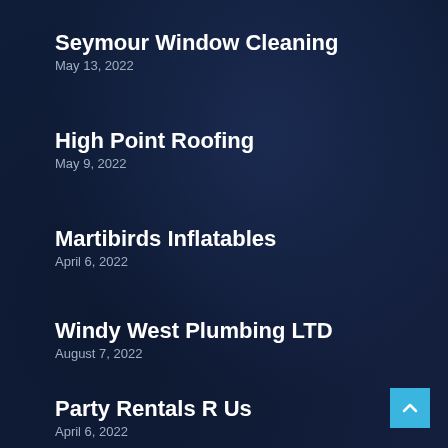Seymour Window Cleaning
May 13, 2022
High Point Roofing
May 9, 2022
Martibirds Inflatables
April 6, 2022
Windy West Plumbing LTD
August 7, 2022
Party Rentals R Us
April 6, 2022